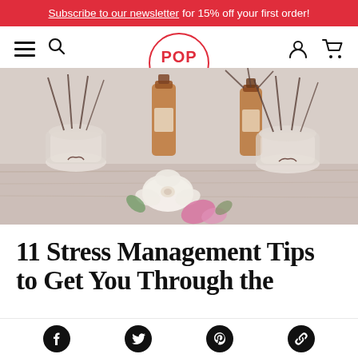Subscribe to our newsletter for 15% off your first order!
[Figure (logo): POP zero brand logo inside a red circle]
[Figure (photo): Reed diffuser bottles and floral arrangement on a wooden surface]
11 Stress Management Tips to Get You Through the
Social sharing icons: Facebook, Twitter, Pinterest, Link